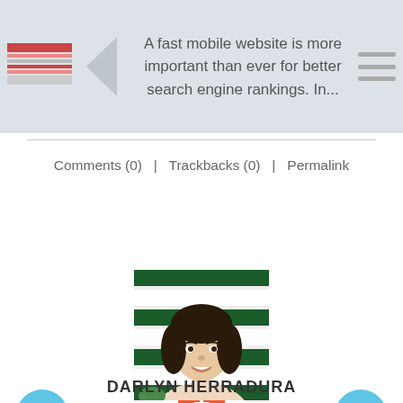[Figure (screenshot): Website header banner with thumbnail image, back arrow, article preview text, and hamburger menu icon on a light gray background]
A fast mobile website is more important than ever for better search engine rankings. In...
Comments (0)   |   Trackbacks (0)   |   Permalink
[Figure (infographic): Orange plus button, left blue circle arrow, right blue circle arrow navigation UI elements]
[Figure (photo): Portrait photo of a young woman with short dark hair, smiling, in front of a striped background]
DARLYN HERRADURA